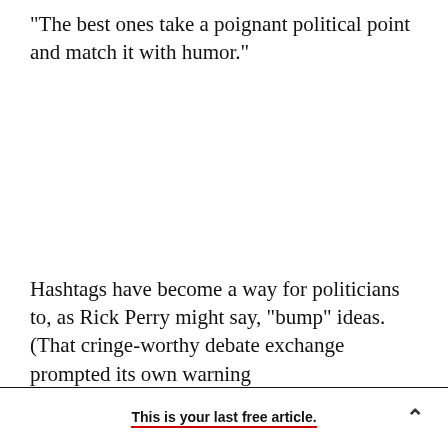"The best ones take a poignant political point and match it with humor."
Hashtags have become a way for politicians to, as Rick Perry might say, "bump" ideas. (That cringe-worthy debate exchange prompted its own warning
This is your last free article.